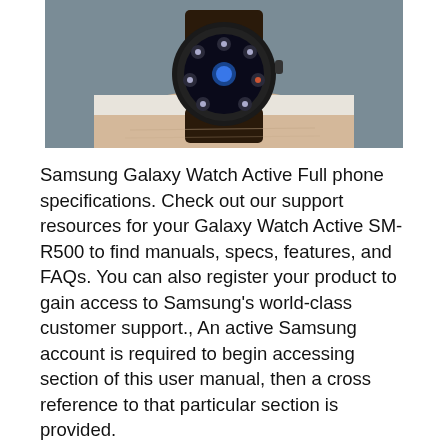[Figure (photo): Close-up photo of a Samsung Galaxy Watch Active (round smartwatch with dark bezel and leather strap) worn on a person's wrist. The watch face displays a circular icon menu. Background is dark grey/blue.]
Samsung Galaxy Watch Active Full phone specifications. Check out our support resources for your Galaxy Watch Active SM-R500 to find manuals, specs, features, and FAQs. You can also register your product to gain access to Samsung's world-class customer support., An active Samsung account is required to begin accessing section of this user manual, then a cross reference to that particular section is provided.